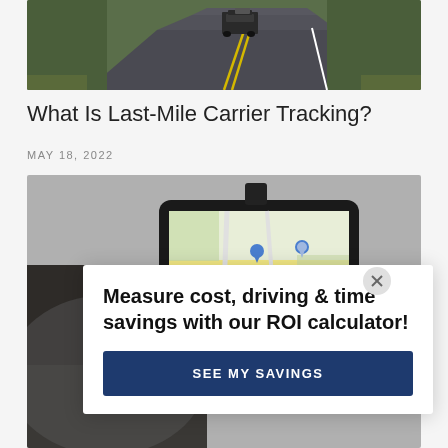[Figure (photo): Road photo showing a truck driving on a winding road from behind, with yellow lane markings and trees on the sides]
What Is Last-Mile Carrier Tracking?
MAY 18, 2022
[Figure (photo): GPS navigation device mounted in a car showing a map with location pins, blurred dashboard in background]
Measure cost, driving & time savings with our ROI calculator!
SEE MY SAVINGS